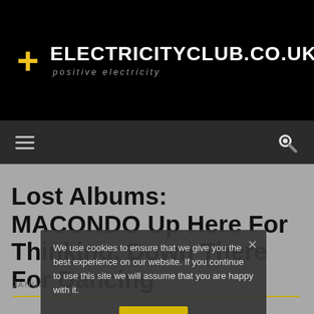ELECTRICITYCLUB.CO.UK positive electricity
[Figure (logo): ElectricityClub.co.uk logo with yellow plus sign, white bold text, yellow lightning bolt, and italic tagline 'positive electricity']
[Figure (screenshot): Navigation bar with hamburger menu icon and search magnifying glass icon on dark background]
Lost Albums: MACONDO Up Here For Thinking, Down There For Dancing
JANUARY 21, 2016
We use cookies to ensure that we give you the best experience on our website. If you continue to use this site we will assume that you are happy with it.
Ok